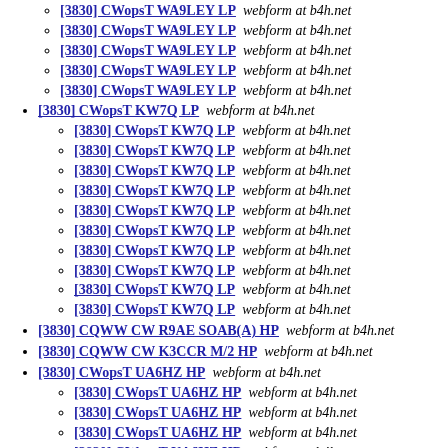[3830] CWopsT WA9LEY LP  webform at b4h.net
[3830] CWopsT WA9LEY LP  webform at b4h.net
[3830] CWopsT WA9LEY LP  webform at b4h.net
[3830] CWopsT WA9LEY LP  webform at b4h.net
[3830] CWopsT WA9LEY LP  webform at b4h.net
[3830] CWopsT KW7Q LP  webform at b4h.net
[3830] CWopsT KW7Q LP  webform at b4h.net
[3830] CWopsT KW7Q LP  webform at b4h.net
[3830] CWopsT KW7Q LP  webform at b4h.net
[3830] CWopsT KW7Q LP  webform at b4h.net
[3830] CWopsT KW7Q LP  webform at b4h.net
[3830] CWopsT KW7Q LP  webform at b4h.net
[3830] CWopsT KW7Q LP  webform at b4h.net
[3830] CWopsT KW7Q LP  webform at b4h.net
[3830] CWopsT KW7Q LP  webform at b4h.net
[3830] CQWW CW R9AE SOAB(A) HP  webform at b4h.net
[3830] CQWW CW K3CCR M/2 HP  webform at b4h.net
[3830] CWopsT UA6HZ HP  webform at b4h.net
[3830] CWopsT UA6HZ HP  webform at b4h.net
[3830] CWopsT UA6HZ HP  webform at b4h.net
[3830] CWopsT UA6HZ HP  webform at b4h.net
[3830] CWopsT UA6HZ HP  webform at b4h.net
[3830] CWopsT UA6HZ HP  webform at b4h.net